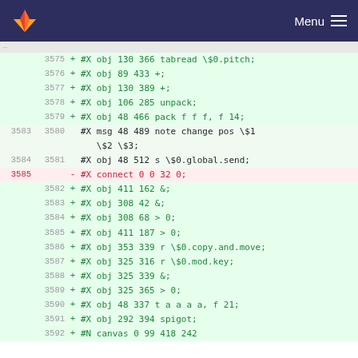GitLab logo | Menu
| old_ln | new_ln | sign | code |
| --- | --- | --- | --- |
|  | 3575 | + | #X obj 130 366 tabread \$0.pitch; |
|  | 3576 | + | #X obj 89 433 +; |
|  | 3577 | + | #X obj 130 389 +; |
|  | 3578 | + | #X obj 106 285 unpack; |
|  | 3579 | + | #X obj 48 466 pack f f f, f 14; |
| 3583 | 3580 |   | #X msg 48 489 note change pos \$1 \$2 \$3; |
| 3584 | 3581 |   | #X obj 48 512 s \$0.global.send; |
| 3585 |  | - | #X connect 0 0 32 0; |
|  | 3582 | + | #X obj 411 162 &; |
|  | 3583 | + | #X obj 308 42 &; |
|  | 3584 | + | #X obj 308 68 > 0; |
|  | 3585 | + | #X obj 411 187 > 0; |
|  | 3586 | + | #X obj 353 339 r \$0.copy.and.move; |
|  | 3587 | + | #X obj 325 316 r \$0.mod.key; |
|  | 3588 | + | #X obj 325 339 &; |
|  | 3589 | + | #X obj 325 365 > 0; |
|  | 3590 | + | #X obj 48 337 t a a a a, f 21; |
|  | 3591 | + | #X obj 292 394 spigot; |
|  | 3592 | + | #N canvas 0 99 418 242 |